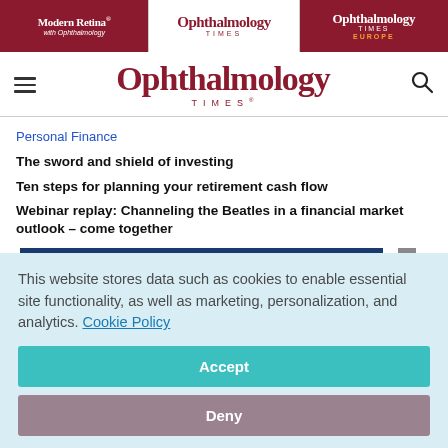Modern Retina with Ophthalmology | Ophthalmology Times | Ophthalmology Times Europe
Ophthalmology Times
Personal Finance
The sword and shield of investing
Ten steps for planning your retirement cash flow
Webinar replay: Channeling the Beatles in a financial market outlook – come together
This website stores data such as cookies to enable essential site functionality, as well as marketing, personalization, and analytics. Cookie Policy
Accept
Deny